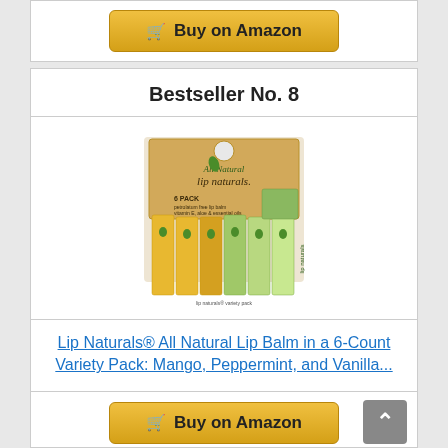[Figure (other): Buy on Amazon button at top of page (partial, cut off)]
Bestseller No. 8
[Figure (photo): Lip Naturals All Natural Lip Balm 6-Count Variety Pack product photo showing kraft cardboard display box with six lip balm sticks in yellow and green colors labeled lip naturals]
Lip Naturals® All Natural Lip Balm in a 6-Count Variety Pack: Mango, Peppermint, and Vanilla...
[Figure (other): Buy on Amazon button at bottom of page]